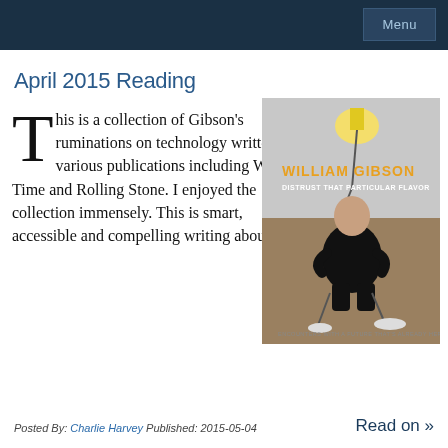Menu
April 2015 Reading
This is a collection of Gibson's ruminations on technology written for various publications including Wired, Time and Rolling Stone. I enjoyed the collection immensely. This is smart, accessible and compelling writing abou ...
[Figure (illustration): Book cover of 'Distrust That Particular Flavor' by William Gibson, showing the author seated on a chair with a glowing lamp above, orange and white text on dark background]
Posted By: Charlie Harvey  Published: 2015-05-04    Read on »